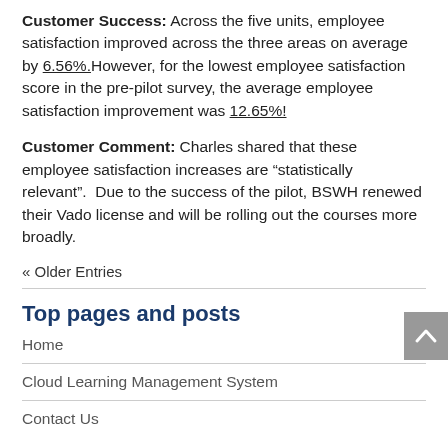Customer Success: Across the five units, employee satisfaction improved across the three areas on average by 6.56%. However, for the lowest employee satisfaction score in the pre-pilot survey, the average employee satisfaction improvement was 12.65%!
Customer Comment: Charles shared that these employee satisfaction increases are "statistically relevant". Due to the success of the pilot, BSWH renewed their Vado license and will be rolling out the courses more broadly.
« Older Entries
Top pages and posts
Home
Cloud Learning Management System
Contact Us